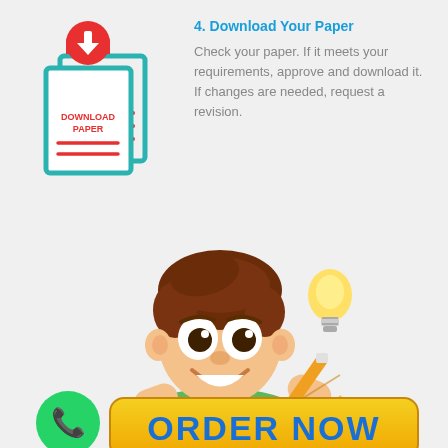[Figure (illustration): Download paper icon: teal/green document icon with a red download cloud arrow on top, showing two overlapping document pages with 'DOWNLOAD PAPER' text and red horizontal lines on the document face]
4. Download Your Paper
Check your paper. If it meets your requirements, approve and download it. If changes are needed, request a revision.
[Figure (illustration): Cartoon mascot: smiling boy student with brown hair holding a pencil, with a glowing light bulb next to him, sitting behind a yellow ORDER NOW button banner. A green WhatsApp phone icon button is in the bottom left.]